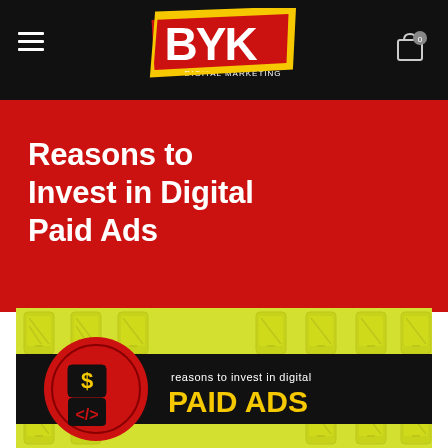BYK Digital Marketing
Reasons to Invest in Digital Paid Ads
[Figure (infographic): Infographic with yellow background showing smartphone icons pattern, a red circle with a dollar sign and code brackets icon on a black banner, with text 'reasons to invest in digital PAID ADS' in white and yellow on the right side]